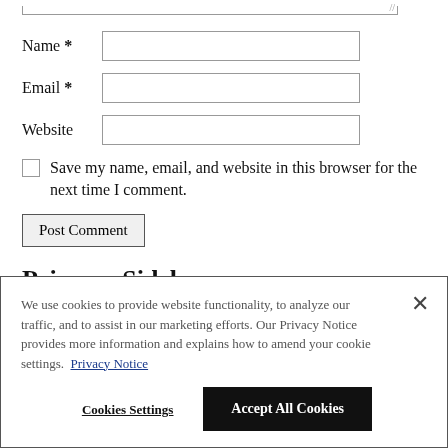Name *
Email *
Website
Save my name, email, and website in this browser for the next time I comment.
Post Comment
Primary Sidebar
We use cookies to provide website functionality, to analyze our traffic, and to assist in our marketing efforts. Our Privacy Notice provides more information and explains how to amend your cookie settings. Privacy Notice
Cookies Settings
Accept All Cookies